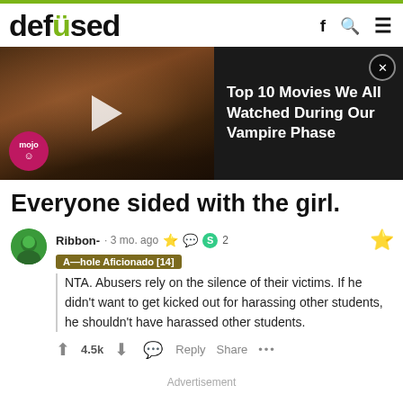defused
[Figure (screenshot): Embedded video thumbnail from WatchMojo showing two figures in period costumes, with play button and mojo badge. Ad title: Top 10 Movies We All Watched During Our Vampire Phase]
Everyone sided with the girl.
Ribbon- · 3 mo. ago A-hole Aficionado [14] NTA. Abusers rely on the silence of their victims. If he didn't want to get kicked out for harassing other students, he shouldn't have harassed other students. 4.5k Reply Share